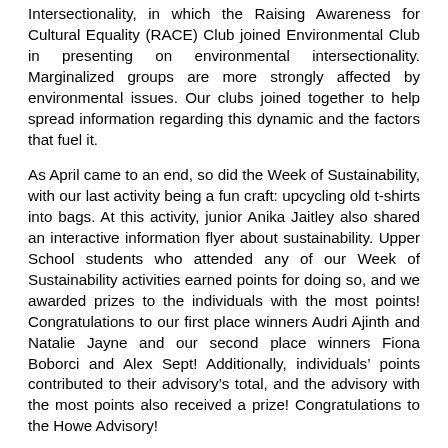Intersectionality, in which the Raising Awareness for Cultural Equality (RACE) Club joined Environmental Club in presenting on environmental intersectionality. Marginalized groups are more strongly affected by environmental issues. Our clubs joined together to help spread information regarding this dynamic and the factors that fuel it.
As April came to an end, so did the Week of Sustainability, with our last activity being a fun craft: upcycling old t-shirts into bags. At this activity, junior Anika Jaitley also shared an interactive information flyer about sustainability. Upper School students who attended any of our Week of Sustainability activities earned points for doing so, and we awarded prizes to the individuals with the most points! Congratulations to our first place winners Audri Ajinth and Natalie Jayne and our second place winners Fiona Boborci and Alex Sept! Additionally, individuals' points contributed to their advisory's total, and the advisory with the most points also received a prize! Congratulations to the Howe Advisory!
I would like to say a special thank you to our amazing Environmental Club moderator, Mr. Mathieu, RACE